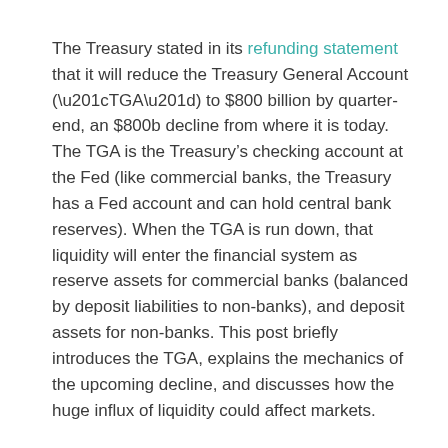The Treasury stated in its refunding statement that it will reduce the Treasury General Account (“TGA”) to $800 billion by quarter-end, an $800b decline from where it is today. The TGA is the Treasury’s checking account at the Fed (like commercial banks, the Treasury has a Fed account and can hold central bank reserves). When the TGA is run down, that liquidity will enter the financial system as reserve assets for commercial banks (balanced by deposit liabilities to non-banks), and deposit assets for non-banks. This post briefly introduces the TGA, explains the mechanics of the upcoming decline, and discusses how the huge influx of liquidity could affect markets.